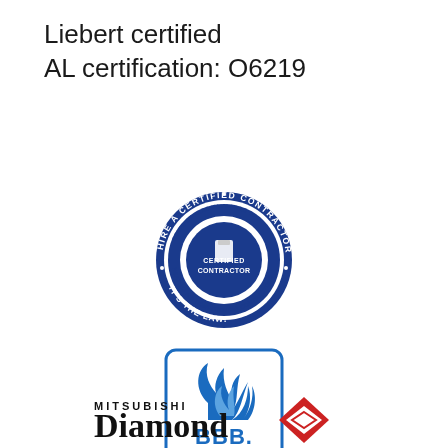Liebert certified
AL certification: O6219
[Figure (logo): Alabama State Board of Heating and Air Conditioning Contractors certified contractor circular seal badge in blue and white, reading 'HIRE A CERTIFIED CONTRACTOR - IT'S THE LAW!' around the border and 'CERTIFIED CONTRACTOR' in the center with the state of Alabama logo]
[Figure (logo): Better Business Bureau (BBB) Accredited Business logo in blue with a flame/torch icon above the text 'BBB.' and 'ACCREDITED BUSINESS' below, inside a rounded rectangle border]
[Figure (logo): Mitsubishi Diamond Partner logo with red diamond shape graphic and text 'MITSUBISHI Diamond' in black and red lettering, partially visible]